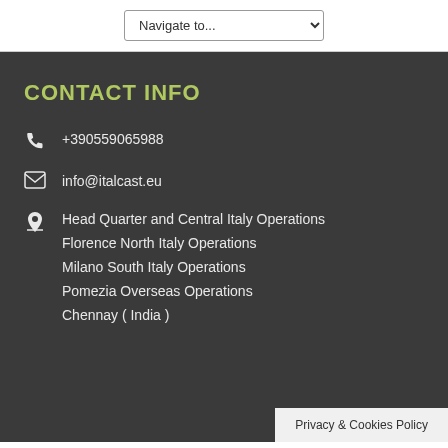Navigate to...
CONTACT INFO
+390559065988
info@italcast.eu
Head Quarter and Central Italy Operations
Florence North Italy Operations
Milano South Italy Operations
Pomezia Overseas Operations
Chennay ( India )
Privacy & Cookies Policy